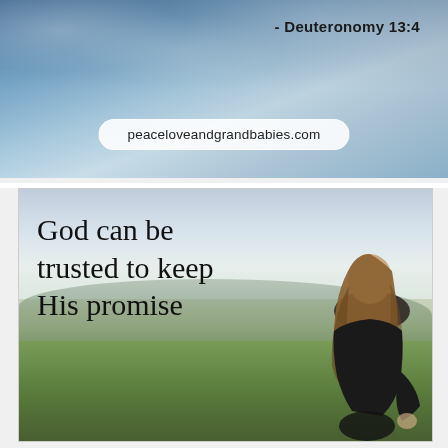- Deuteronomy 13:4
peaceloveandgrandbabies.com
[Figure (photo): Woman with long hair sitting in a field viewed from behind, with scenic hills and sky background, overlaid with inspirational text: 'God can be trusted to keep His promise']
God can be trusted to keep His promise